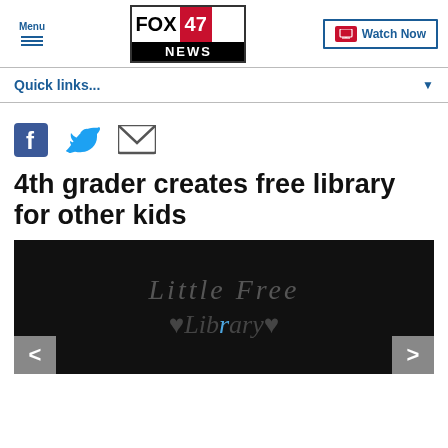Menu | FOX 47 NEWS | Watch Now
Quick links...
[Figure (other): Social share icons: Facebook, Twitter, Email]
4th grader creates free library for other kids
[Figure (photo): Dark background photo showing handwritten text 'Little Free Library' with hearts, partially visible slideshow with left and right navigation arrows]